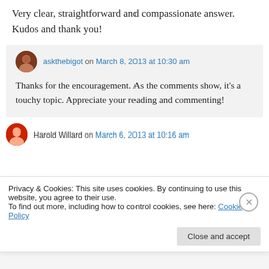Very clear, straightforward and compassionate answer. Kudos and thank you!
askthebigot on March 8, 2013 at 10:30 am
Thanks for the encouragement. As the comments show, it's a touchy topic. Appreciate your reading and commenting!
Harold Willard on March 6, 2013 at 10:16 am
Privacy & Cookies: This site uses cookies. By continuing to use this website, you agree to their use.
To find out more, including how to control cookies, see here: Cookie Policy
Close and accept